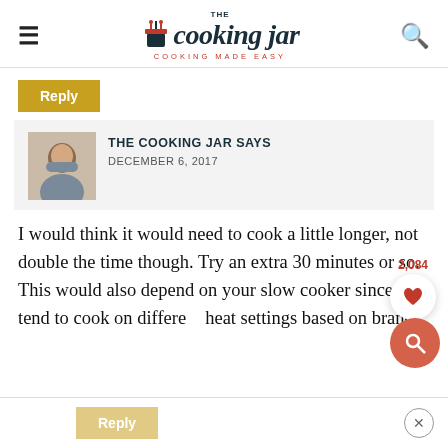The Cooking Jar - Cooking Made Easy
Reply
[Figure (photo): Avatar photo of The Cooking Jar author]
THE COOKING JAR SAYS DECEMBER 6, 2017
I would think it would need to cook a little longer, not double the time though. Try an extra 30 minutes or so. This would also depend on your slow cooker since they tend to cook on different heat settings based on brand.
Reply